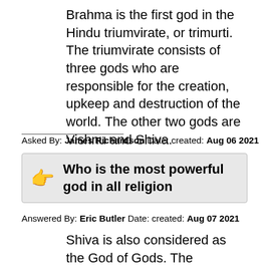Brahma is the first god in the Hindu triumvirate, or trimurti. The triumvirate consists of three gods who are responsible for the creation, upkeep and destruction of the world. The other two gods are Vishnu and Shiva.
Asked By: James Richardson Date: created: Aug 06 2021
Who is the most powerful god in all religion
Answered By: Eric Butler Date: created: Aug 07 2021
Shiva is also considered as the God of Gods. The existence which represents infinity itself. He is the supreme masculine divinity in this universe and is lord of the three worlds (Vishwanath).